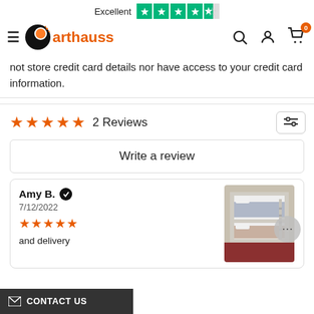Excellent ★★★★★ (Trustpilot)
[Figure (logo): Arthauss logo with globe icon and orange text]
not store credit card details nor have access to your credit card information.
★★★★★ 2 Reviews
Write a review
Amy B. ✓
7/12/2022
★★★★★
...and delivery
[Figure (photo): Photo of a white bunk bed with bedding]
CONTACT US